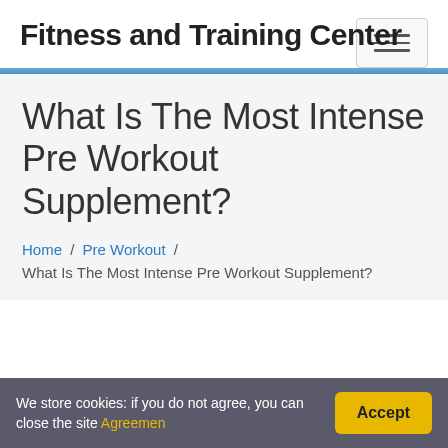Fitness and Training Center
What Is The Most Intense Pre Workout Supplement?
Home / Pre Workout / What Is The Most Intense Pre Workout Supplement?
We store cookies: if you do not agree, you can close the site Agreemen